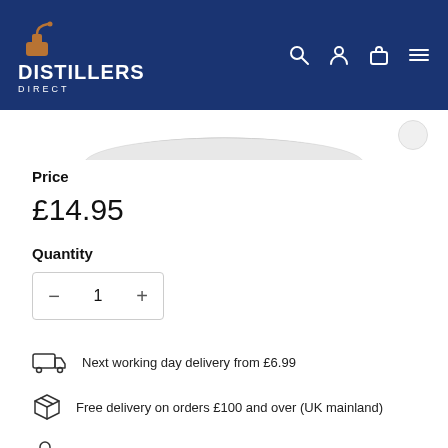DISTILLERS DIRECT
[Figure (photo): Partial product image at top (cropped bottle/tin)]
Price
£14.95
Quantity
- 1 +
Next working day delivery from £6.99
Free delivery on orders £100 and over (UK mainland)
Secure payments